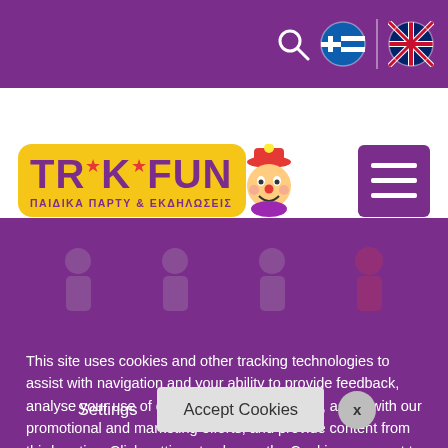[Figure (screenshot): Website navigation bar with purple background, search icon, Greek flag icon, and UK flag icon]
[Figure (logo): Triki Fun logo - yellow rounded rectangle with purple text 'TRIKI FUN', clown character, and subtitle 'ΠΑΙΔΙΚΑ ΠΑΡΤΥ & ΕΚΔΗΛΩΣΕΙΣ']
[Figure (screenshot): Purple hamburger menu button with three white horizontal lines]
This site uses cookies and other tracking technologies to assist with navigation and your ability to provide feedback, analyse your use of our products and services, assist with our promotional and marketing efforts, and provide content from third parties. Click settings to choose the Cookies you want to enable.
Cookies Policy
[Figure (screenshot): Cookie consent buttons: Settings text button, Accept Cookies button, and X close button]